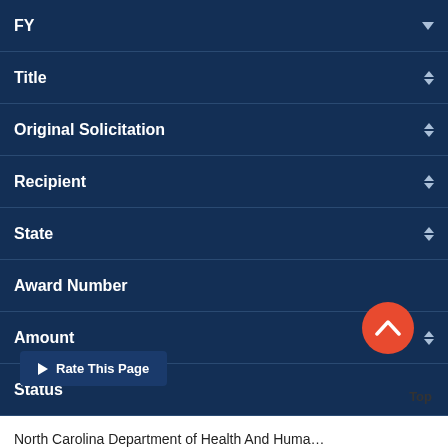| FY | Title | Original Solicitation | Recipient | State | Award Number | Amount | Status |
| --- | --- | --- | --- | --- | --- | --- | --- |
| North Carolina Department of Health And Human... | NC |
Rate This Page
Top